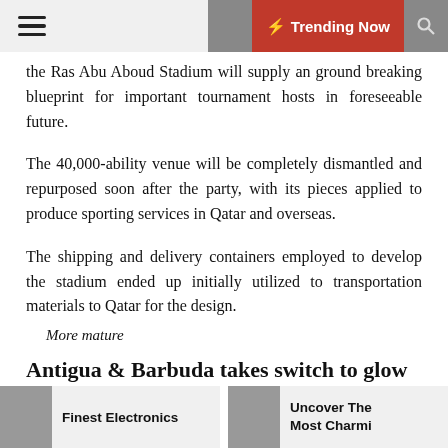≡  🌙  ⚡ Trending Now  🔍
the Ras Abu Aboud Stadium will supply an ground breaking blueprint for important tournament hosts in foreseeable future.
The 40,000-ability venue will be completely dismantled and repurposed soon after the party, with its pieces applied to produce sporting services in Qatar and overseas.
The shipping and delivery containers employed to develop the stadium ended up initially utilized to transportation materials to Qatar for the design.
More mature
Antigua & Barbuda takes switch to glow at Expo 2020
Finest Electronics  |  Uncover The Most Charmi…